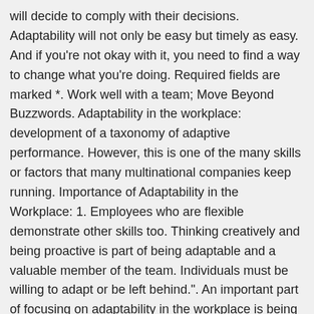will decide to comply with their decisions. Adaptability will not only be easy but timely as easy. And if you're not okay with it, you need to find a way to change what you're doing. Required fields are marked *. Work well with a team; Move Beyond Buzzwords. Adaptability in the workplace: development of a taxonomy of adaptive performance. However, this is one of the many skills or factors that many multinational companies keep running. Importance of Adaptability in the Workplace: 1. Employees who are flexible demonstrate other skills too. Thinking creatively and being proactive is part of being adaptable and a valuable member of the team. Individuals must be willing to adapt or be left behind.". An important part of focusing on adaptability in the workplace is being okay with where you're dedicating your time and energy. Adaptability is key to a satisfying and successful work life, says Dr Max McKeown, author of Adaptability: The Art of Winning in an Age of Uncertainty. 2608 Erwin RoadSuite 148 #300Durham, NC 27705, “How to be an Adaptable Employee During Change and Uncertainty,", 2 Career Women on Change, Reinvention & Thriving, Why Being a Perfectionist Isn't All It's Cracked Up to Be, Showing